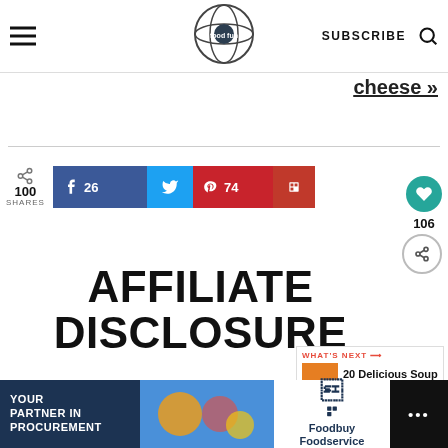Food Fun & Faraway Places — SUBSCRIBE
cheese »
100 SHARES  f 26  Twitter  P 74  Flipboard
AFFILIATE DISCLOSURE
WHAT'S NEXT → 20 Delicious Soup Recipes
Food, Fun & Faraway Places
[Figure (infographic): Ad banner: YOUR PARTNER IN PROCUREMENT with Foodbuy Foodservice logo]